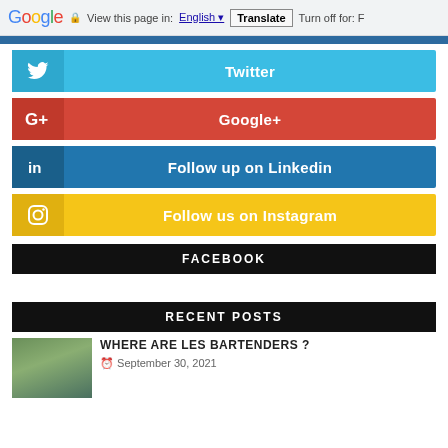Google — View this page in: English [Translate] Turn off for: F
Twitter
Google+
Follow up on Linkedin
Follow us on Instagram
FACEBOOK
RECENT POSTS
WHERE ARE LES BARTENDERS ?
September 30, 2021